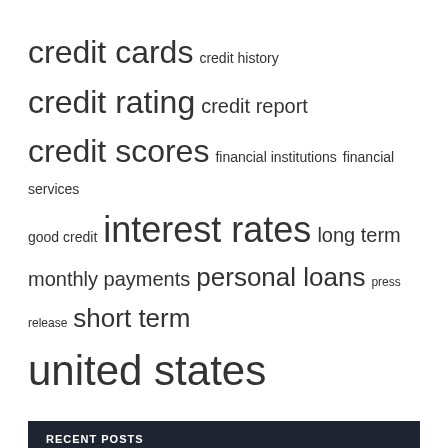credit cards credit history credit rating credit report credit scores financial institutions financial services good credit interest rates long term monthly payments personal loans press release short term united states
RECENT POSTS
Online Title Loans with the Same Day Cash Available
How to get out of a car loan – Forbes Advisor
Research: Rating Action: Moody's Affirms Underlying Aa3 Rating on